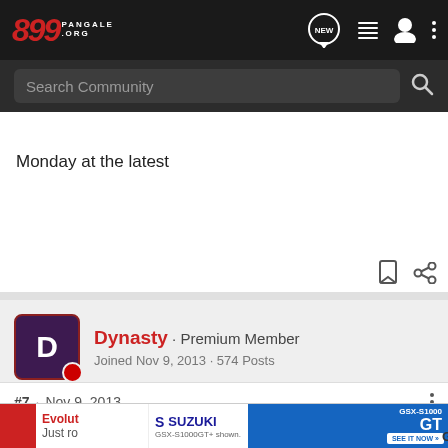899 PANGALE.ORG — Search Community — NEW
Monday at the latest
Dynasty · Premium Member
Joined Nov 9, 2013 · 574 Posts
#7 · Nov 9, 2013
[Figure (screenshot): Suzuki GSX-S1000GT advertisement banner]
GA